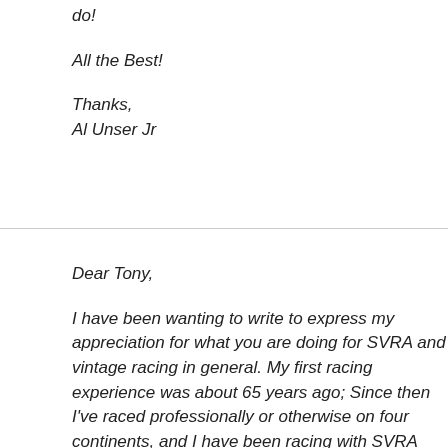do!
All the Best!
Thanks,
Al Unser Jr
Dear Tony,
I have been wanting to write to express my appreciation for what you are doing for SVRA and vintage racing in general. My first racing experience was about 65 years ago; Since then I've raced professionally or otherwise on four continents, and I have been racing with SVRA since 1994. With this background it is clear to me that you have taken SVRA and vintage racing to a new level.